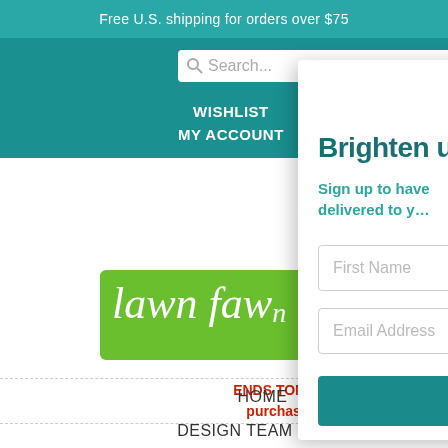Free U.S. shipping for orders over $75
Search...
WISHLIST
MY ACCOUNT
[Figure (illustration): Lawn Fawn brand logo with deer illustration and green banner reading 'lawn fawn']
ENDS TONIGHT! Free stam... purchase, expires Sept...
HOME  SHOP v  AB...
DESIGN TEAM  WHOLESALE  BLOG
[Figure (screenshot): Email signup popup overlay with Lawn Fawn logo, 'Brighten up' heading, subtitle 'Sign up to have... delivered to y...', First Name and Email Address input fields, and a 'sign me' button]
Brighten up
Sign up to have... delivered to y...
First Name
Email Address
sign me